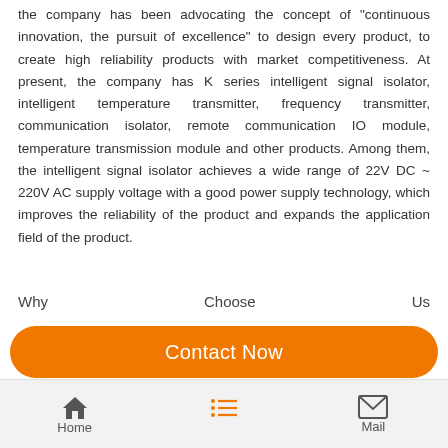the company has been advocating the concept of "continuous innovation, the pursuit of excellence" to design every product, to create high reliability products with market competitiveness. At present, the company has K series intelligent signal isolator, intelligent temperature transmitter, frequency transmitter, communication isolator, remote communication IO module, temperature transmission module and other products. Among them, the intelligent signal isolator achieves a wide range of 22V DC ~ 220V AC supply voltage with a good power supply technology, which improves the reliability of the product and expands the application field of the product.
Why Choose Us
Contact Now
Home  Mail